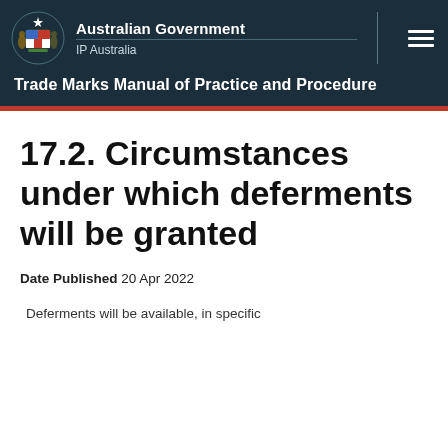Australian Government IP Australia — Trade Marks Manual of Practice and Procedure
17.2. Circumstances under which deferments will be granted
Date Published 20 Apr 2022
Deferments will be available, in specific